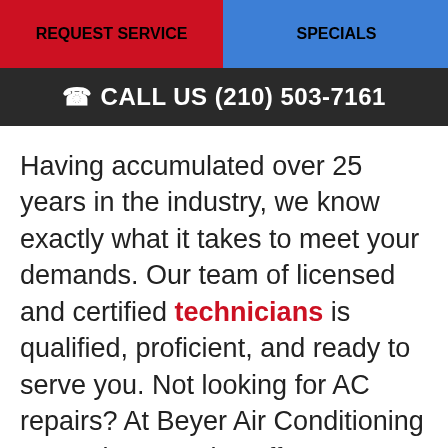REQUEST SERVICE | SPECIALS
CALL US (210) 503-7161
Having accumulated over 25 years in the industry, we know exactly what it takes to meet your demands. Our team of licensed and certified technicians is qualified, proficient, and ready to serve you. Not looking for AC repairs? At Beyer Air Conditioning & Heating, we also offer AC installations and maintenance as well as furnace repairs and more in Selma.